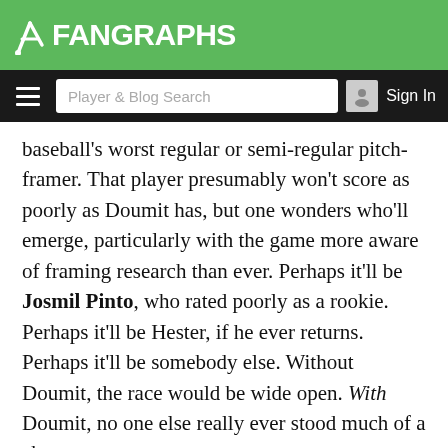FanGraphs
baseball's worst regular or semi-regular pitch-framer. That player presumably won't score as poorly as Doumit has, but one wonders who'll emerge, particularly with the game more aware of framing research than ever. Perhaps it'll be Josmil Pinto, who rated poorly as a rookie. Perhaps it'll be Hester, if he ever returns. Perhaps it'll be somebody else. Without Doumit, the race would be wide open. With Doumit, no one else really ever stood much of a chance.
Say this for Ryan Doumit — over the course of his career, he's captured a lot of Internet attention. He's always been a pretty